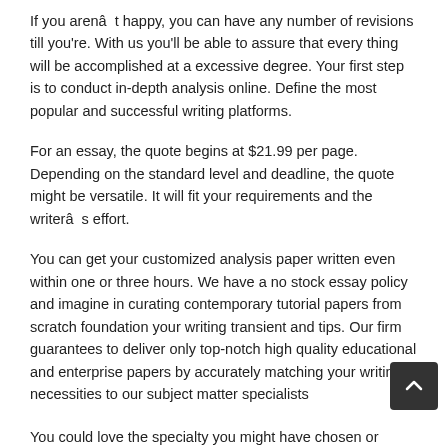If you arenât happy, you can have any number of revisions till you're. With us you'll be able to assure that every thing will be accomplished at a excessive degree. Your first step is to conduct in-depth analysis online. Define the most popular and successful writing platforms.
For an essay, the quote begins at $21.99 per page. Depending on the standard level and deadline, the quote might be versatile. It will fit your requirements and the writerâs effort.
You can get your customized analysis paper written even within one or three hours. We have a no stock essay policy and imagine in curating contemporary tutorial papers from scratch foundation your writing transient and tips. Our firm guarantees to deliver only top-notch high quality educational and enterprise papers by accurately matching your writing necessities to our subject matter specialists
You could love the specialty you might have chosen or